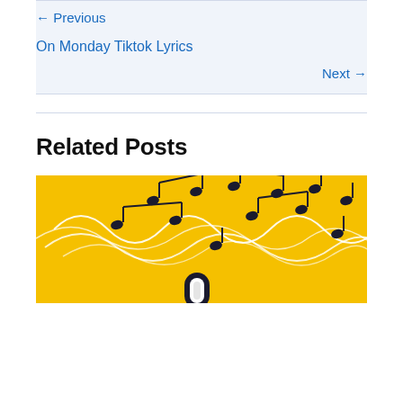← Previous
On Monday Tiktok Lyrics
Next →
Related Posts
[Figure (illustration): Yellow background illustration with music notes floating and white wavy lines, with a microphone visible at the bottom]